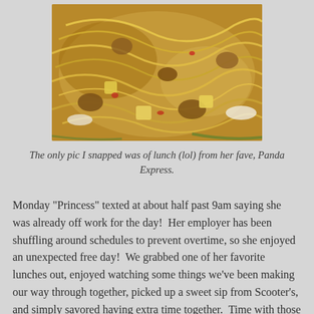[Figure (photo): Close-up photo of Chinese noodle dish with chicken, vegetables, and pineapple chunks, resembling a Panda Express dish, on a white plate with green garnish visible at edges.]
The only pic I snapped was of lunch (lol) from her fave, Panda Express.
Monday "Princess" texted at about half past 9am saying she was already off work for the day!  Her employer has been shuffling around schedules to prevent overtime, so she enjoyed an unexpected free day!  We grabbed one of her favorite lunches out, enjoyed watching some things we've been making our way through together, picked up a sweet sip from Scooter's, and simply savored having extra time together.  Time with those dearest to our heart is one of the greatest gifts!